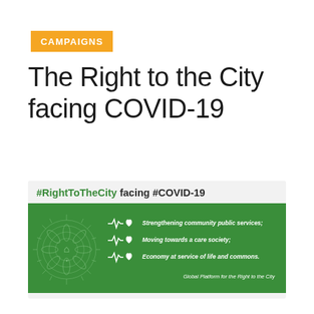CAMPAIGNS
The Right to the City facing COVID-19
[Figure (infographic): Infographic banner with header '#RightToTheCity facing #COVID-19' and a green panel showing a globe/mandala design on the left and three bullet points on the right: 'Strengthening community public services;', 'Moving towards a care society;', 'Economy at service of life and commons.' with ECG-heart icons, plus footer text 'Global Platform for the Right to the City']